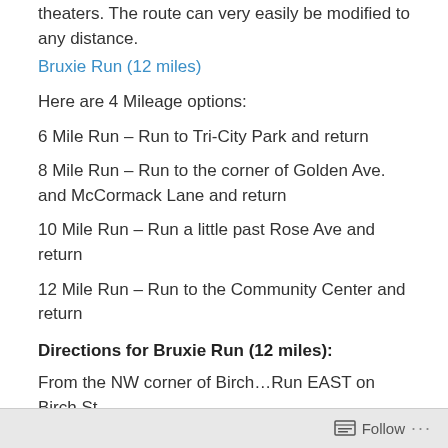theaters. The route can very easily be modified to any distance.
Bruxie Run (12 miles)
Here are 4 Mileage options:
6 Mile Run – Run to Tri-City Park and return
8 Mile Run – Run to the corner of Golden Ave. and McCormack Lane and return
10 Mile Run – Run a little past Rose Ave and return
12 Mile Run – Run to the Community Center and return
Directions for Bruxie Run (12 miles):
From the NW corner of Birch…Run EAST on Birch St.
Follow